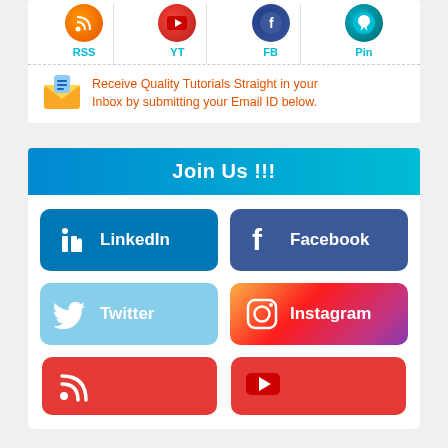[Figure (infographic): Social media icon row with RSS, YT, FB, Pin icons with colored circular avatars and cyan labels]
Receive Quality Tutorials Straight in your Inbox by submitting your Email ID below.
Join Us !!!
[Figure (infographic): LinkedIn social media button - teal/blue rounded rectangle with 'in' logo and LinkedIn text]
[Figure (infographic): Facebook social media button - dark blue rounded rectangle with 'f' logo and Facebook text]
[Figure (infographic): Twitter social media button - light blue rounded rectangle with bird logo and Twitter text]
[Figure (infographic): Instagram social media button - gradient orange-pink-purple rounded rectangle with camera logo and Instagram text]
[Figure (infographic): RSS partial button - red rounded rectangle at bottom]
[Figure (infographic): YouTube partial button - red rounded rectangle at bottom]